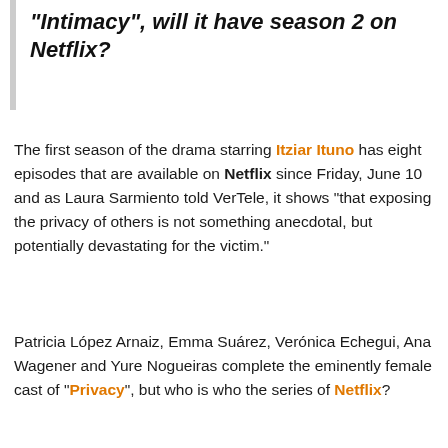“Intimacy”, will it have season 2 on Netflix?
The first season of the drama starring Itziar Ituno has eight episodes that are available on Netflix since Friday, June 10 and as Laura Sarmiento told VerTele, it shows “that exposing the privacy of others is not something anecdotal, but potentially devastating for the victim.”
Patricia López Arnaiz, Emma Suárez, Verónica Echegui, Ana Wagener and Yure Nogueiras complete the eminently female cast of “Privacy”, but who is who the series of Netflix?